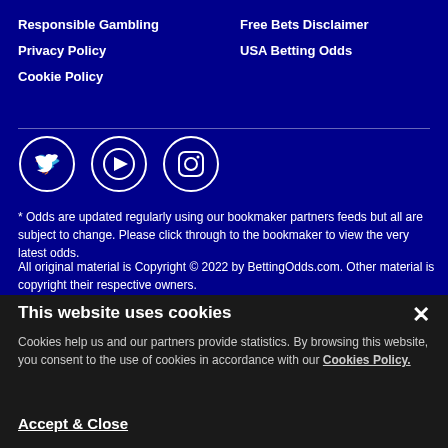Responsible Gambling
Free Bets Disclaimer
Privacy Policy
USA Betting Odds
Cookie Policy
[Figure (illustration): Social media icons: Twitter, YouTube, Instagram in circular buttons on dark navy background]
* Odds are updated regularly using our bookmaker partners feeds but all are subject to change. Please click through to the bookmaker to view the very latest odds.
All original material is Copyright © 2022 by BettingOdds.com. Other material is copyright their respective owners.
This website uses cookies
Cookies help us and our partners provide statistics. By browsing this website, you consent to the use of cookies in accordance with our Cookies Policy.
Accept & Close